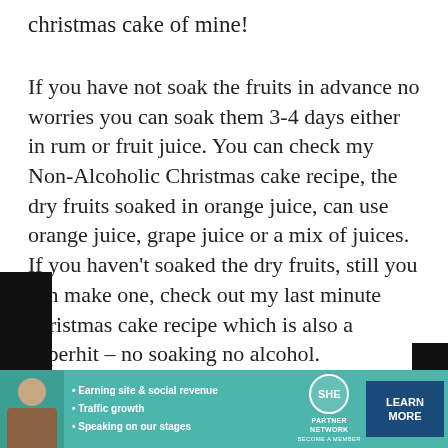christmas cake of mine!
If you have not soak the fruits in advance no worries you can soak them 3-4 days either in rum or fruit juice. You can check my Non-Alcoholic Christmas cake recipe, the dry fruits soaked in orange juice, can use orange juice, grape juice or a mix of juices. If you haven't soaked the dry fruits, still you can make one, check out my last minute christmas cake recipe which is also a superhit – no soaking no alcohol.
PREVIOUS POST
NEXT POST
Privacy & Cookies: This site uses cookies. By continuing to use this website, you agree to their use.
To find out more, including how to control cookies, see here: Cookie Policy
Close and accept
[Figure (infographic): Advertisement banner for SHE PARTNER NETWORK with bullet points: Earning site & social revenue, Traffic growth, Speaking on our stages. Includes LEARN MORE button.]